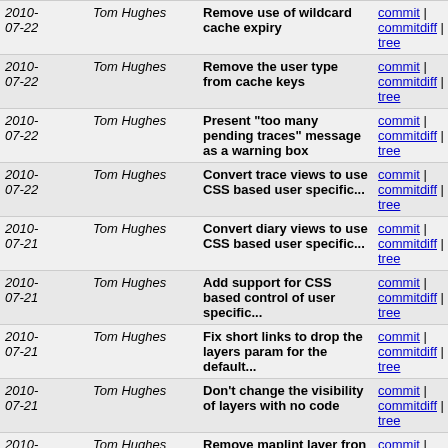| Date | Author | Message | Links |
| --- | --- | --- | --- |
| 2010-07-22 | Tom Hughes | Remove use of wildcard cache expiry | commit | commitdiff | tree |
| 2010-07-22 | Tom Hughes | Remove the user type from cache keys | commit | commitdiff | tree |
| 2010-07-22 | Tom Hughes | Present "too many pending traces" message as a warning box | commit | commitdiff | tree |
| 2010-07-22 | Tom Hughes | Convert trace views to use CSS based user specific... | commit | commitdiff | tree |
| 2010-07-21 | Tom Hughes | Convert diary views to use CSS based user specific... | commit | commitdiff | tree |
| 2010-07-21 | Tom Hughes | Add support for CSS based control of user specific... | commit | commitdiff | tree |
| 2010-07-21 | Tom Hughes | Fix short links to drop the layers param for the default... | commit | commitdiff | tree |
| 2010-07-21 | Tom Hughes | Don't change the visibility of layers with no code | commit | commitdiff | tree |
| 2010-07-20 | Tom Hughes | Remove maplint layer fron the map | commit | commitdiff | tree |
| 2010-07-20 | Tom Hughes | Make the suspended user view work again | commit | commitdiff | tree |
| 2010-07-19 | Tom Hughes | Don't put MemoryLimit class in the OSM module as it... | commit | commitdiff | tree |
| 2010-07-19 | Tom Hughes | Make memory limits configurable and make them work... | commit | commitdiff | tree |